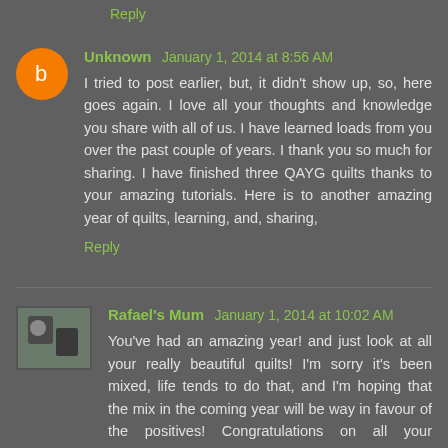Reply
Unknown January 1, 2014 at 8:56 AM
I tried to post earlier, but, it didn't show up, so, here goes again. I love all your thoughts and knowledge you share with all of us. I have learned loads from you over the past couple of years. I thank you so much for sharing. I have finished three QAYG quilts thanks to your amazing tutorials. Here is to another amazing year of quilts, learning, and, sharing,
Reply
Rafael's Mum January 1, 2014 at 10:02 AM
You've had an amazing year! and just look at all your really beautiful quilts! I'm sorry it's been mixed, life tends to do that, and I'm hoping that the mix in the coming year will be way in favour of the positives! Congratulations on all your achievements and for this post. Having had some family illness in mypersonal mix, I have missed much and sooo